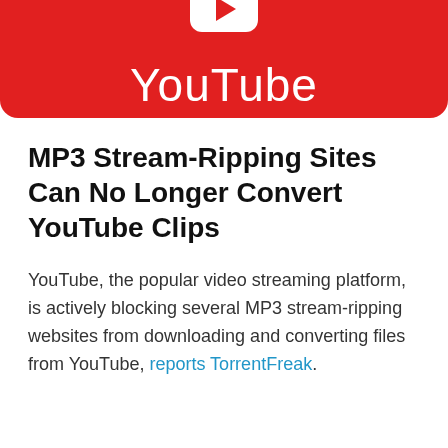[Figure (logo): YouTube logo banner — red rounded rectangle background with white play button icon at top and white 'YouTube' text below]
MP3 Stream-Ripping Sites Can No Longer Convert YouTube Clips
YouTube, the popular video streaming platform, is actively blocking several MP3 stream-ripping websites from downloading and converting files from YouTube, reports TorrentFreak.